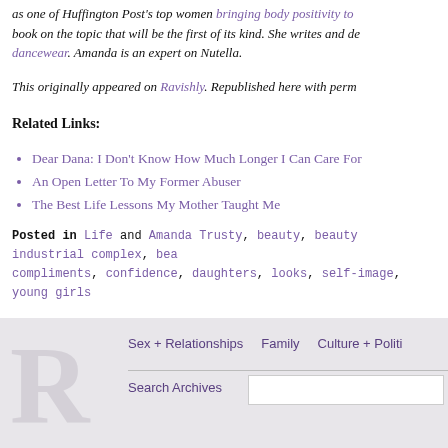as one of Huffington Post's top women bringing body positivity to the world, and is writing a book on the topic that will be the first of its kind. She writes and designs plus size dancewear. Amanda is an expert on Nutella.
This originally appeared on Ravishly. Republished here with permission.
Related Links:
Dear Dana: I Don't Know How Much Longer I Can Care For
An Open Letter To My Former Abuser
The Best Life Lessons My Mother Taught Me
Posted in Life and Amanda Trusty, beauty, beauty industrial complex, beauty compliments, confidence, daughters, looks, self-image, young girls
Sex + Relationships   Family   Culture + Politics   Search Archives